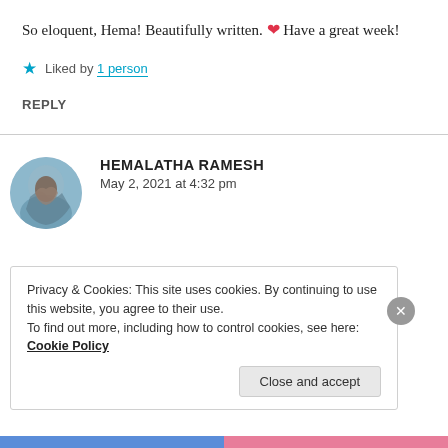So eloquent, Hema! Beautifully written. ❤ Have a great week!
★ Liked by 1 person
REPLY
[Figure (photo): Circular avatar photo of a person against a blue sky background]
HEMALATHA RAMESH
May 2, 2021 at 4:32 pm
Privacy & Cookies: This site uses cookies. By continuing to use this website, you agree to their use.
To find out more, including how to control cookies, see here: Cookie Policy
Close and accept